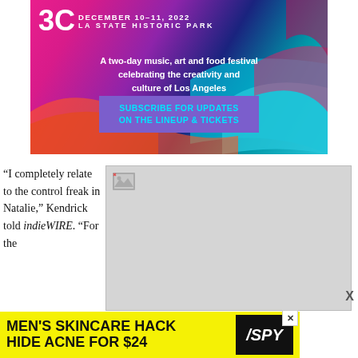[Figure (infographic): Colorful festival advertisement banner for a two-day music, art and food festival at LA State Historic Park on December 10-11, 2022, with a subscribe button for lineup and tickets updates. Background has vibrant magenta, purple, blue, teal color swashes.]
“I completely relate to the control freak in Natalie,” Kendrick told indieWIRE. “For the
[Figure (photo): Broken/unloaded image placeholder (gray rectangle with broken image icon in top-left corner)]
[Figure (infographic): Yellow bottom advertisement banner: MEN'S SKINCARE HACK HIDE ACNE FOR $24 with SPY logo on the right side]